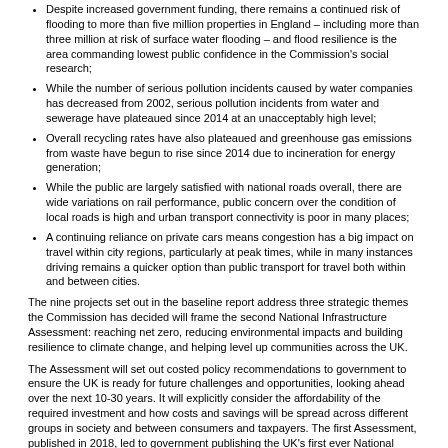Despite increased government funding, there remains a continued risk of flooding to more than five million properties in England – including more than three million at risk of surface water flooding – and flood resilience is the area commanding lowest public confidence in the Commission's social research;
While the number of serious pollution incidents caused by water companies has decreased from 2002, serious pollution incidents from water and sewerage have plateaued since 2014 at an unacceptably high level;
Overall recycling rates have also plateaued and greenhouse gas emissions from waste have begun to rise since 2014 due to incineration for energy generation;
While the public are largely satisfied with national roads overall, there are wide variations on rail performance, public concern over the condition of local roads is high and urban transport connectivity is poor in many places;
A continuing reliance on private cars means congestion has a big impact on travel within city regions, particularly at peak times, while in many instances driving remains a quicker option than public transport for travel both within and between cities.
The nine projects set out in the baseline report address three strategic themes the Commission has decided will frame the second National Infrastructure Assessment: reaching net zero, reducing environmental impacts and building resilience to climate change, and helping level up communities across the UK.
The Assessment will set out costed policy recommendations to government to ensure the UK is ready for future challenges and opportunities, looking ahead over the next 10-30 years. It will explicitly consider the affordability of the required investment and how costs and savings will be spread across different groups in society and between consumers and taxpayers. The first Assessment, published in 2018, led to government publishing the UK's first ever National Infrastructure Strategy, which committed to implementing the majority of the Commission's recommendations including the creation of the UK